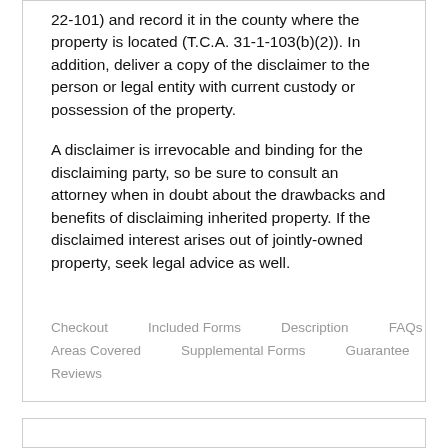22-101) and record it in the county where the property is located (T.C.A. 31-1-103(b)(2)). In addition, deliver a copy of the disclaimer to the person or legal entity with current custody or possession of the property.
A disclaimer is irrevocable and binding for the disclaiming party, so be sure to consult an attorney when in doubt about the drawbacks and benefits of disclaiming inherited property. If the disclaimed interest arises out of jointly-owned property, seek legal advice as well.
Checkout
Included Forms
Description
FAQs
Areas Covered
Supplemental Forms
Guarantee
Reviews